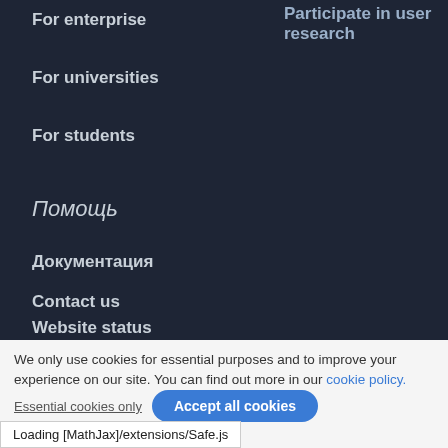Participate in user research
For enterprise
For universities
For students
Помощь
Документация
Contact us
Website status
We only use cookies for essential purposes and to improve your experience on our site. You can find out more in our cookie policy.
Essential cookies only
Accept all cookies
Loading [MathJax]/extensions/Safe.js